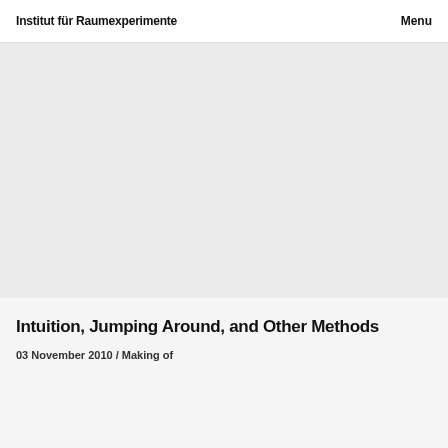Institut für Raumexperimente  Menu
[Figure (photo): Large light gray rectangular image placeholder area]
Intuition, Jumping Around, and Other Methods
03 November 2010 / Making of